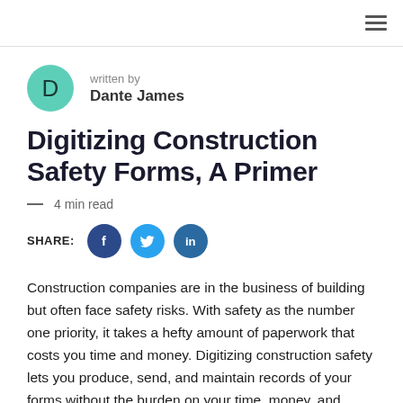written by
Dante James
Digitizing Construction Safety Forms, A Primer
— 4 min read
SHARE:
Construction companies are in the business of building but often face safety risks. With safety as the number one priority, it takes a hefty amount of paperwork that costs you time and money. Digitizing construction safety lets you produce, send, and maintain records of your forms without the burden on your time, money, and flexibility.